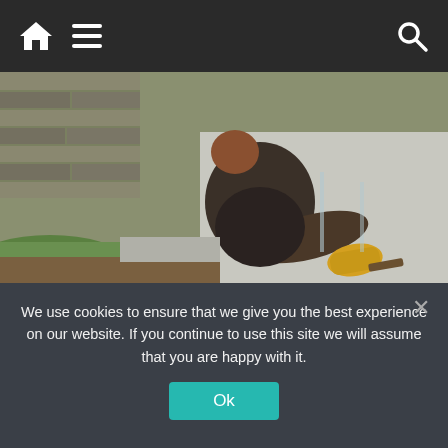Navigation bar with home icon, menu icon, and search icon
[Figure (photo): Person wearing yellow gloves kneeling and applying sealant or waterproofing coating to a concrete foundation wall outdoors, with brick wall and dirt visible in background.]
Cheap Pier Foundation Repair Services in Ashburn
Foundation Repair | Search Ads | Sponsored
Get Offer
We use cookies to ensure that we give you the best experience on our website. If you continue to use this site we will assume that you are happy with it.
Ok